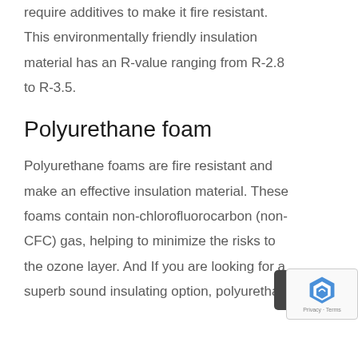require additives to make it fire resistant. This environmentally friendly insulation material has an R-value ranging from R-2.8 to R-3.5.
Polyurethane foam
Polyurethane foams are fire resistant and make an effective insulation material. These foams contain non-chlorofluorocarbon (non-CFC) gas, helping to minimize the risks to the ozone layer. And If you are looking for a superb sound insulating option, polyurethane